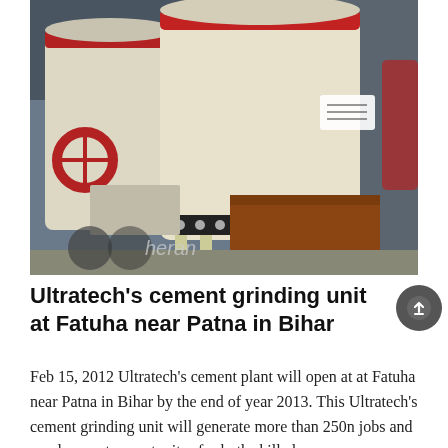[Figure (photo): Industrial cement grinding machinery — large cylindrical beige/cream colored mill units with red flanges and black rubber seals, photographed inside a factory. A watermark 'theran' is visible at the bottom left.]
Ultratech's cement grinding unit at Fatuha near Patna in Bihar
Feb 15, 2012 Ultratech's cement plant will open at at Fatuha near Patna in Bihar by the end of year 2013. This Ultratech's cement grinding unit will generate more than 250n jobs and employment opportunites for both skilled